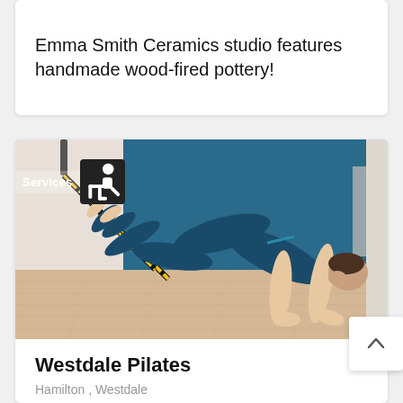Emma Smith Ceramics studio features handmade wood-fired pottery!
[Figure (photo): A person performing a TRX/pilates exercise in a studio with blue accent wall and wooden floor, wearing blue athletic wear, in a pike/push-up position with feet in suspension straps]
Westdale Pilates
Hamilton , Westdale
Stay active with Westdale Pilates in-